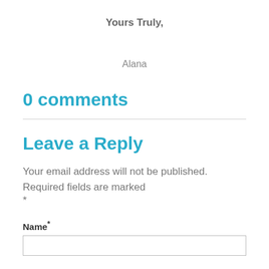Yours Truly,
Alana
0 comments
Leave a Reply
Your email address will not be published. Required fields are marked *
Name*